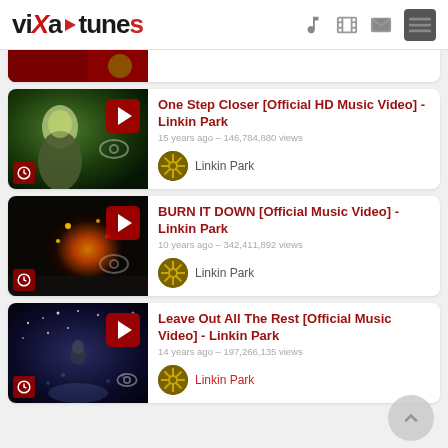vixa tunes — navigation header with music, video, mail, menu icons
[Figure (screenshot): Partially visible video card at top (cut off)]
[Figure (screenshot): Video thumbnail: One Step Closer - Linkin Park music video, green-tinted scene with blonde person]
One Step Closer [Official HD Music Video] - Linkin Park
15 years ago – 146,784,880 views
Linkin Park
[Figure (screenshot): Video thumbnail: BURN IT DOWN - Linkin Park, concert/explosion scene]
BURN IT DOWN [Official Music Video] - Linkin Park
10 years ago – 342,411,892 views
Linkin Park
[Figure (screenshot): Video thumbnail: Leave Out All The Rest - Linkin Park, dark concert scene]
Leave Out All The Rest [Official Music Video] - Linkin Park
14 years ago – 197,266,135 views
Linkin Park